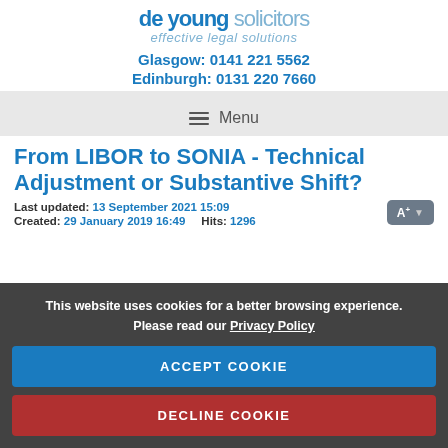de young solicitors — effective legal solutions
Glasgow: 0141 221 5562
Edinburgh: 0131 220 7660
≡ Menu
From LIBOR to SONIA - Technical Adjustment or Substantive Shift?
Last updated: 13 September 2021 15:09
Created: 29 January 2019 16:49   Hits: 1296
This website uses cookies for a better browsing experience. Please read our Privacy Policy
ACCEPT COOKIE
DECLINE COOKIE